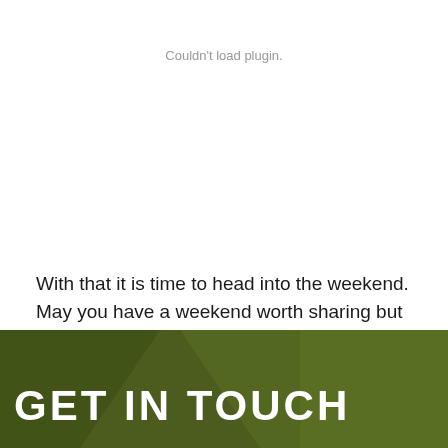Couldn't load plugin.
With that it is time to head into the weekend. May you have a weekend worth sharing but holding back a few choice details from your mother.
[Figure (other): Dark olive green footer banner with diagonal shape overlay and green textured background on the right side]
GET IN TOUCH